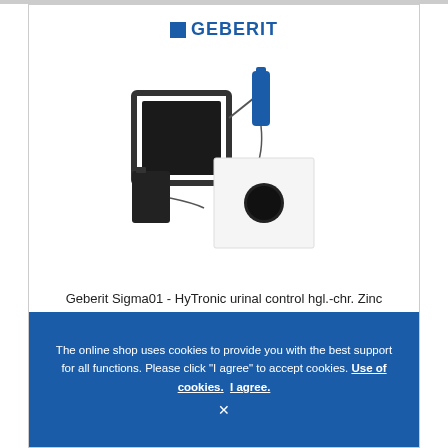[Figure (photo): Geberit logo with blue square and bold blue GEBERIT text]
[Figure (photo): Product photo of Geberit Sigma01 HyTronic urinal control components: mounting frame, blue solenoid valve with wire, battery pack, and white square cover plate with circular IR sensor]
Geberit Sigma01 - HyTronic urinal control hgl.-chr. Zinc Die Cast contactless IR / Battery
The online shop uses cookies to provide you with the best support for all functions. Please click "I agree" to accept cookies. Use of cookies. I agree.